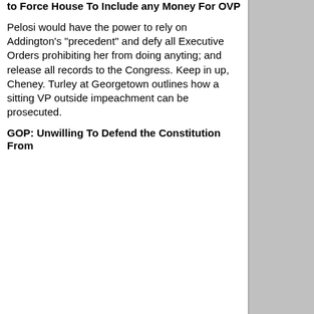to Force House To Include any Money For OVP
Pelosi would have the power to rely on Addington's "precedent" and defy all Executive Orders prohibiting her from doing anyting; and release all records to the Congress. Keep in up, Cheney. Turley at Georgetown outlines how a sitting VP outside impeachment can be prosecuted.
GOP: Unwilling To Defend the Constitution From